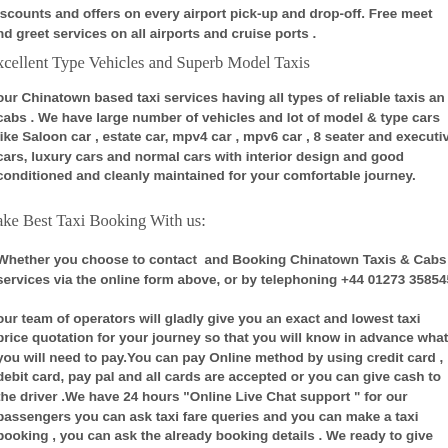iscounts and offers on every airport pick-up and drop-off. Free meet nd greet services on all airports and cruise ports .
xcellent Type Vehicles and Superb Model Taxis
our Chinatown based taxi services having all types of reliable taxis and cabs . We have large number of vehicles and lot of model & type cars like Saloon car , estate car, mpv4 car , mpv6 car , 8 seater and executive cars, luxury cars and normal cars with interior design and good conditioned and cleanly maintained for your comfortable journey.
ake Best Taxi Booking With us:
Whether you choose to contact and Booking Chinatown Taxis & Cabs services via the online form above, or by telephoning +44 01273 358545 , our team of operators will gladly give you an exact and lowest taxi price quotation for your journey so that you will know in advance what you will need to pay.You can pay Online method by using credit card , debit card, pay pal and all cards are accepted or you can give cash to the driver .We have 24 hours "Online Live Chat support " for our passengers you can ask taxi fare queries and you can make a taxi booking , you can ask the already booking details . We ready to give full support to you.